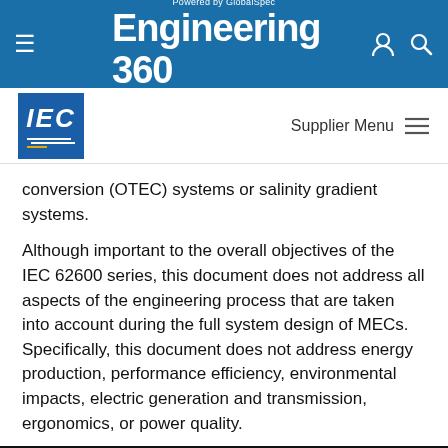Powered by GlobalSpec Engineering 360
[Figure (logo): IEC logo - blue square with IEC text and horizontal lines]
Supplier Menu
conversion (OTEC) systems or salinity gradient systems.
Although important to the overall objectives of the IEC 62600 series, this document does not address all aspects of the engineering process that are taken into account during the full system design of MECs. Specifically, this document does not address energy production, performance efficiency, environmental impacts, electric generation and transmission, ergonomics, or power quality.
GlobalSpec websites place cookies on your device to give you the best user experience. By using our websites, you agree to the placement of these cookies. To learn more, read our Privacy Policy
Accept & Close